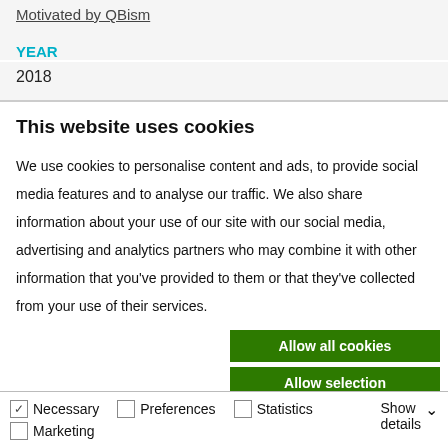Motivated by QBism
YEAR
2018
This website uses cookies
We use cookies to personalise content and ads, to provide social media features and to analyse our traffic. We also share information about your use of our site with our social media, advertising and analytics partners who may combine it with other information that you've provided to them or that they've collected from your use of their services.
Allow all cookies
Allow selection
Use necessary cookies only
Necessary   Preferences   Statistics   Marketing   Show details